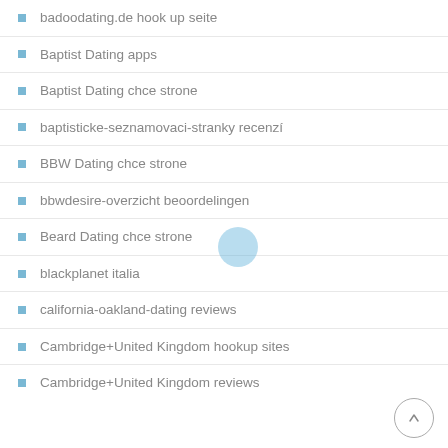badoodating.de hook up seite
Baptist Dating apps
Baptist Dating chce strone
baptisticke-seznamovaci-stranky recenzí
BBW Dating chce strone
bbwdesire-overzicht beoordelingen
Beard Dating chce strone
blackplanet italia
california-oakland-dating reviews
Cambridge+United Kingdom hookup sites
Cambridge+United Kingdom reviews